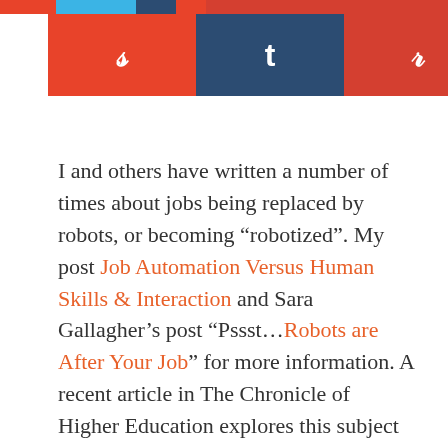[Figure (other): Social sharing buttons bar: StumbleUpon (orange), Tumblr (dark blue), Pinterest (red), with colored top stripe]
I and others have written a number of times about jobs being replaced by robots, or becoming “robotized”. My post Job Automation Versus Human Skills & Interaction and Sara Gallagher’s post “Pssst…Robots are After Your Job” for more information. A recent article in The Chronicle of Higher Education explores this subject as well and gives both a utopian and dystopian side of the argument.
The dystopian side is that robots are going to take all our jobs and will end up subjugating all